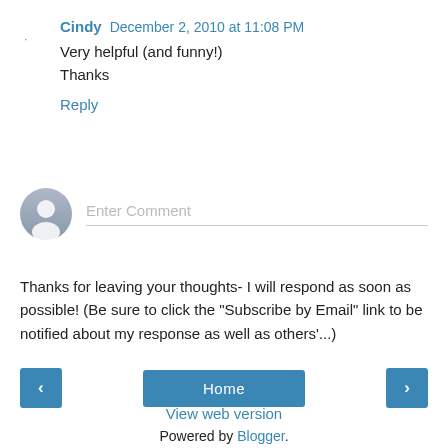Cindy December 2, 2010 at 11:08 PM
Very helpful (and funny!)
Thanks
Reply
[Figure (illustration): User avatar circle with person silhouette icon]
Enter Comment
Thanks for leaving your thoughts- I will respond as soon as possible! (Be sure to click the "Subscribe by Email" link to be notified about my response as well as others'...)
‹
Home
›
View web version
Powered by Blogger.